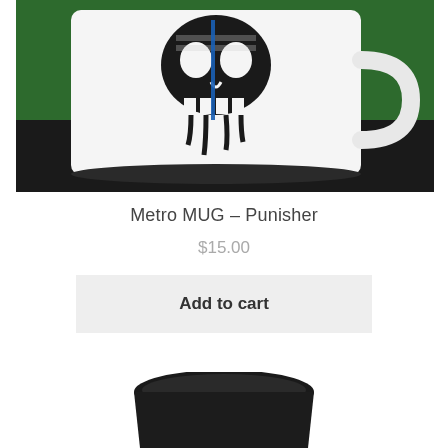[Figure (photo): A white ceramic mug with a Punisher skull design featuring a thin blue line American flag motif, photographed on a dark surface against a green background.]
Metro MUG – Punisher
$15.00
Add to cart
[Figure (photo): Bottom portion of a black ceramic mug, partially visible at the bottom of the page.]